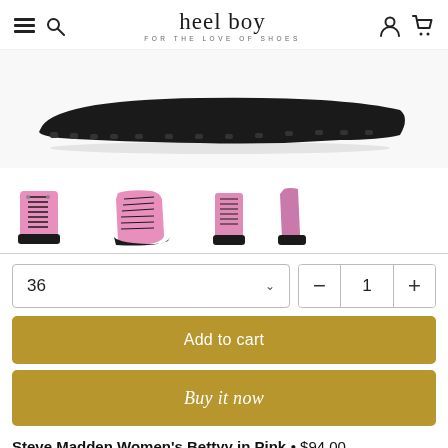heel boy — FOR THE LOVE OF SHOES
[Figure (photo): Close-up of the dark rubber sole of a pink lace-up boot from above/side angle against white background]
[Figure (photo): Four thumbnail images of Steve Madden Bettyy pink lace-up boot from different angles]
36 (size selector dropdown) | quantity: − 1 +
Add to cart
Buy it now
Steve Madden Women's Bettyy in Pink • $94.00
or 4 interest-free payments of $23.50 with Sezzle